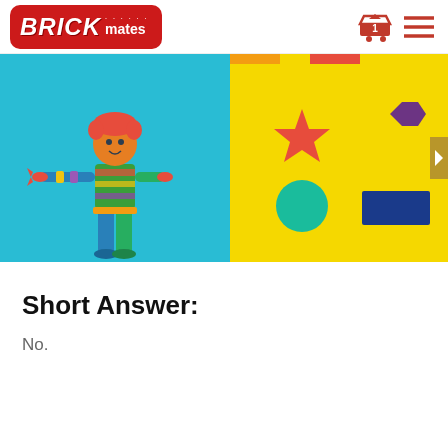BRICKmates
[Figure (photo): Banner image: left half shows a colorful robot/puppet figurine made of various colored pieces on a light blue background; right half shows a yellow background with geometric shapes: red star, purple hexagon, teal circle, dark blue rectangle]
Short Answer:
No.